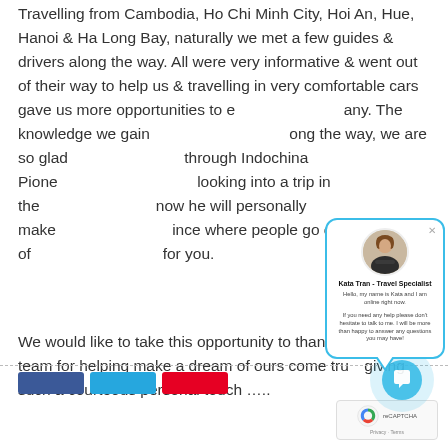Travelling from Cambodia, Ho Chi Minh City, Hoi An, Hue, Hanoi & Ha Long Bay, naturally we met a few guides & drivers along the way. All were very informative & went out of their way to help us & travelling in very comfortable cars gave us more opportunities to e…any. The knowledge we gain…ong the way, we are so glad…through Indochina Pione…looking into a trip in the…now he will personally make…ince where people go out of…for you.
[Figure (screenshot): Chat popup widget showing Kata Tran - Travel Specialist with avatar photo, greeting message, and help offer. Contains close button (×) in top right corner.]
We would like to take this opportunity to thank Lam & his team for helping make a dream of ours come tru…giving such a courteous personal touch ……
[Figure (other): Social media share buttons (Facebook blue, Twitter blue, Pinterest red) at bottom of page]
[Figure (other): reCAPTCHA privacy badge with logo and Privacy · Terms text]